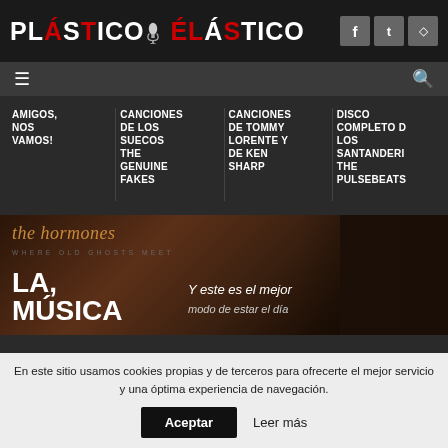Plástico Elástico
AMIGOS, NOS VAMOS!
CANCIONES DE LOS SUECOS THE GENUINE FAKES
CANCIONES DE TOMMY LORENTE Y DE KEN SHARP
DISCO COMPLETO D LOS SANTANDERI THE PULSEBEATS
[Figure (photo): Album cover or promotional image for 'the hormones - where old ghosts meet' with overlay text 'LA, MUSICA' and 'Y este es el mejor modo de estar el día']
En este sitio usamos cookies propias y de terceros para ofrecerte el mejor servicio y una óptima experiencia de navegación.
Aceptar  Leer más